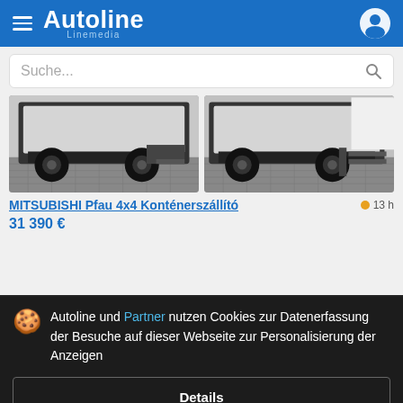Autoline Linemedia
Suche...
[Figure (photo): Two side-by-side photos of a MITSUBISHI Pfau 4x4 truck/container carrier, showing the rear undercarriage area with wheels and equipment visible, on a cobblestone surface]
MITSUBISHI Pfau 4x4 Konténerszállító
13 h
31,390 €
Autoline und Partner nutzen Cookies zur Datenerfassung der Besuche auf dieser Webseite zur Personalisierung der Anzeigen
Details
Akzeptieren und schließen